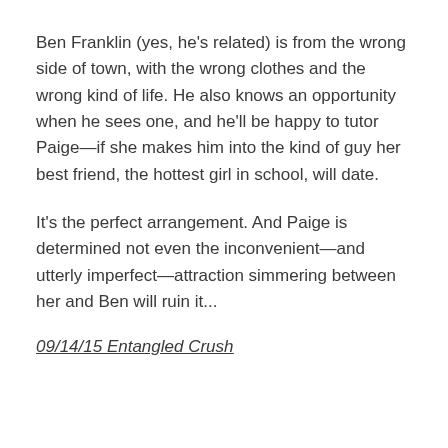Ben Franklin (yes, he's related) is from the wrong side of town, with the wrong clothes and the wrong kind of life. He also knows an opportunity when he sees one, and he'll be happy to tutor Paige—if she makes him into the kind of guy her best friend, the hottest girl in school, will date.
It's the perfect arrangement. And Paige is determined not even the inconvenient—and utterly imperfect—attraction simmering between her and Ben will ruin it...
09/14/15 Entangled Crush